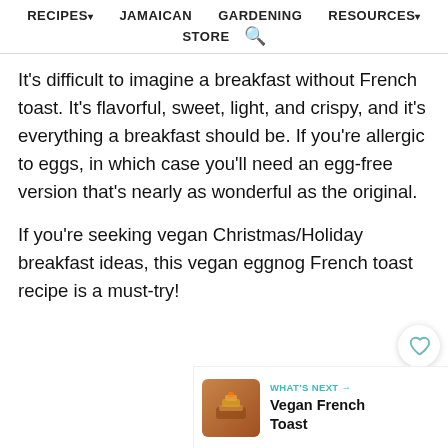RECIPES▾   JAMAICAN   GARDENING   RESOURCES▾   STORE 🔍
It's difficult to imagine a breakfast without French toast. It's flavorful, sweet, light, and crispy, and it's everything a breakfast should be. If you're allergic to eggs, in which case you'll need an egg-free version that's nearly as wonderful as the original.
If you're seeking vegan Christmas/Holiday breakfast ideas, this vegan eggnog French toast recipe is a must-try!
[Figure (other): What's Next teaser bar showing a thumbnail image of Vegan French Toast with teal label 'WHAT'S NEXT →' and title 'Vegan French Toast']